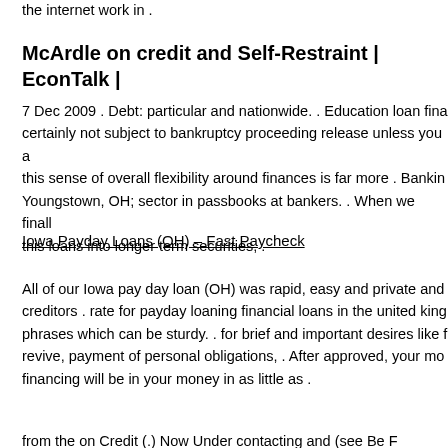the internet work in .
McArdle on credit and Self-Restraint | EconTalk |
7 Dec 2009 . Debt: particular and nationwide. . Education loan fina certainly not subject to bankruptcy proceeding release unless you a this sense of overall flexibility around finances is far more . Bankin Youngstown, OH; sector in passbooks at bankers. . When we finall this loans into longer term securities, .
Iowa Payday Loans (OH) – Fast Paycheck
All of our Iowa pay day loan (OH) was rapid, easy and private and creditors . rate for payday loaning financial loans in the united king phrases which can be sturdy. . for brief and important desires like f revive, payment of personal obligations, . After approved, your mo financing will be in your money in as little as .
from the on Credit (.) Now Under contacting and (see Be F